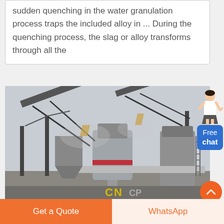sudden quenching in the water granulation process traps the included alloy in ... During the quenching process, the slag or alloy transforms through all the
[Figure (photo): Industrial mineral processing or slag handling facility showing conveyor belts, large crushers or mills, structural steel framework, and heavy equipment. Yellow 'CN' lettering visible on equipment at bottom center.]
[Figure (illustration): Small illustrated female figure (customer service representative) pointing, used as a chat widget icon.]
Free chat
Get a Quote
WhatsApp